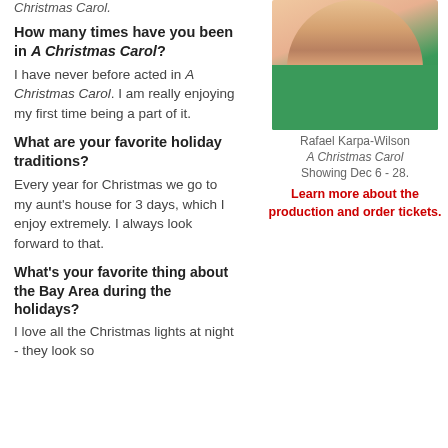Christmas Carol.
[Figure (photo): Headshot of Rafael Karpa-Wilson, a young boy wearing a green shirt, smiling]
Rafael Karpa-Wilson
A Christmas Carol
Showing Dec 6 - 28.
Learn more about the production and order tickets.
How many times have you been in A Christmas Carol?
I have never before acted in A Christmas Carol. I am really enjoying my first time being a part of it.
What are your favorite holiday traditions?
Every year for Christmas we go to my aunt's house for 3 days, which I enjoy extremely. I always look forward to that.
What's your favorite thing about the Bay Area during the holidays?
I love all the Christmas lights at night - they look so